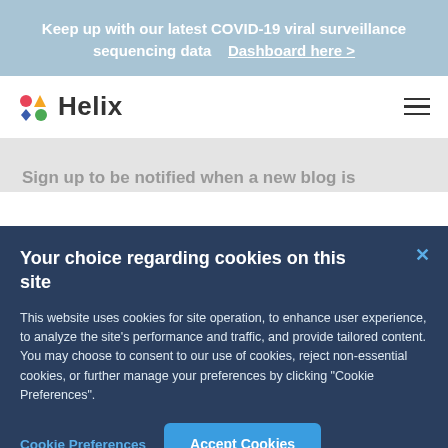Keep up with our latest COVID-19 viral surveillance sequencing data   Dashboard here >
[Figure (logo): Helix company logo with colorful geometric icons and the text 'Helix']
Sign up to be notified when a new blog is
Your choice regarding cookies on this site
This website uses cookies for site operation, to enhance user experience, to analyze the site's performance and traffic, and provide tailored content. You may choose to consent to our use of cookies, reject non-essential cookies, or further manage your preferences by clicking "Cookie Preferences".
Cookie Preferences   Accept Cookies